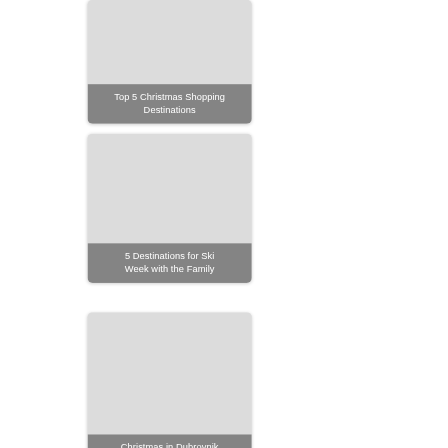[Figure (illustration): Card with image placeholder and label 'Top 5 Christmas Shopping Destinations']
[Figure (illustration): Card with image placeholder and label '5 Destinations for Ski Week with the Family']
[Figure (illustration): Card with image placeholder and label 'Christmas in Dubrovnik']